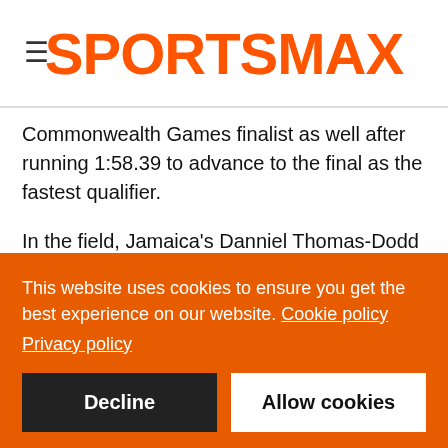SPORTSMAX
Commonwealth Games finalist as well after running 1:58.39 to advance to the final as the fastest qualifier.
In the field, Jamaica's Danniel Thomas-Dodd and Lloydricia Cameron both advanced to the final of the Women's shot put after throws of 18.42m and 16.61m, respectively. Thomas-Dodd's distance was the farthest in qualifying.
The Caribbean will be well represented in the final of the Men's long jump as The Bahamas' Laquan Nairn (7.90m), Jamaica's
This website uses cookies to ensure you get the best experience on our website. Cookie policy
Privacy policy
Decline
Allow cookies